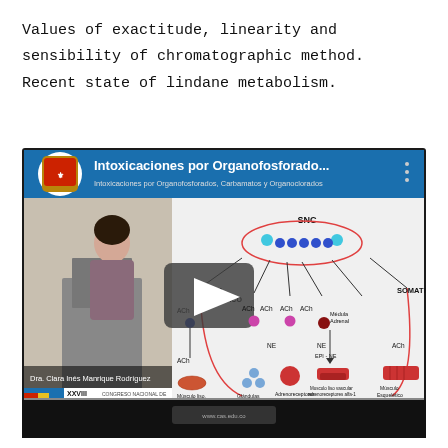Values of exactitude, linearity and sensibility of chromatographic method. Recent state of lindane metabolism.
[Figure (screenshot): Screenshot of a YouTube video titled 'Intoxicaciones por Organofosforado...' (Intoxicaciones por Organofosforados, Carbamatos y Organoclorados). The video shows a woman (Dra. Clara Inés Manrique Rodríguez) presenting at a podium with a XXVIII conference logo, alongside a diagram of the autonomic nervous system showing PARASIMPATICO and SOMATICO pathways with ACh, NE, and EPI neurotransmitters and their target organs. A play button overlay is visible on the video thumbnail.]